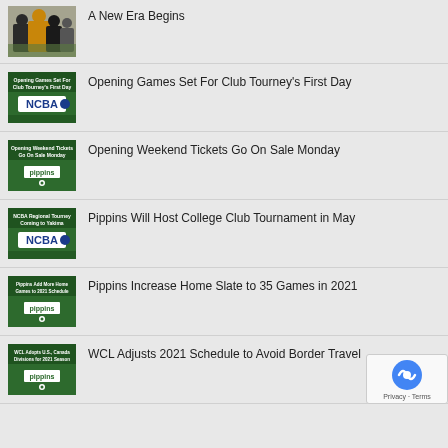[Figure (photo): Photo of people at a baseball event]
A New Era Begins
[Figure (illustration): Thumbnail: Opening Games Set For Club Tourney's First Day - NCBA logo]
Opening Games Set For Club Tourney's First Day
[Figure (illustration): Thumbnail: Opening Weekend Tickets Go On Sale Monday - Pippins logo]
Opening Weekend Tickets Go On Sale Monday
[Figure (illustration): Thumbnail: NCBA Regional Tourney Coming to Yakima - NCBA logo]
Pippins Will Host College Club Tournament in May
[Figure (illustration): Thumbnail: Pippins Add More Home Games to 2021 Schedule - Pippins logo]
Pippins Increase Home Slate to 35 Games in 2021
[Figure (illustration): Thumbnail: WCL Adopts U.S., Canada Divisions for 2021 Season - Pippins logo]
WCL Adjusts 2021 Schedule to Avoid Border Travel